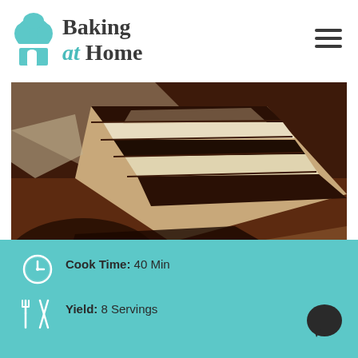Baking at Home
[Figure (photo): Close-up photo of layered chocolate cake slices on a dark plate, showing chocolate and cream layers]
Cook Time: 40 Min
Yield: 8 Servings